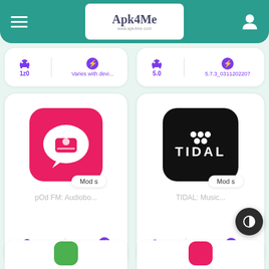Apk4Me - app download site header
[Figure (screenshot): App card top row left: Android icon '1z0' and bolt icon 'Varies with devi...']
[Figure (screenshot): App card top row right: Android icon '5.0' and bolt icon '5.7.3_0311202207']
[Figure (screenshot): App card: pOd FM: Audiobook app icon (red/pink rounded square with radio icon), Mods badge, name 'pOd FM: Audiobo...', stats Android 5.0, version 5.4.6]
[Figure (screenshot): App card: TIDAL Music app icon (black rounded square with TIDAL text), Mods badge, name 'TIDAL: Music...', stats Android 1z0, Varies with devi...]
[Figure (screenshot): Partial bottom left app card with green icon]
[Figure (screenshot): Partial bottom right app card with red/pink icon]